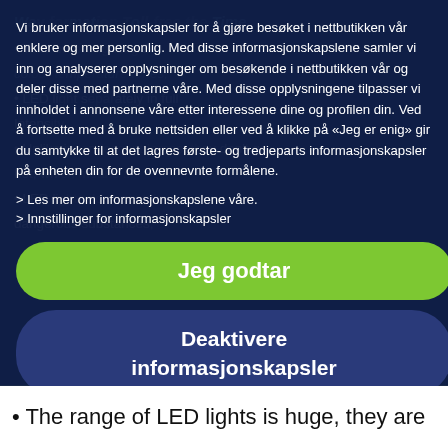Vi bruker informasjonskapsler for å gjøre besøket i nettbutikken vår enklere og mer personlig. Med disse informasjonskapslene samler vi inn og analyserer opplysninger om besøkende i nettbutikken vår og deler disse med partnerne våre. Med disse opplysningene tilpasser vi innholdet i annonsene våre etter interessene dine og profilen din. Ved å fortsette med å bruke nettsiden eller ved å klikke på «Jeg er enig» gir du samtykke til at det lagres første- og tredjeparts informasjonskapsler på enheten din for de ovennevnte formålene.
> Les mer om informasjonskapslene våre.
> Innstillinger for informasjonskapsler
Jeg godtar
Deaktivere informasjonskapsler
The range of LED lights is huge, they are